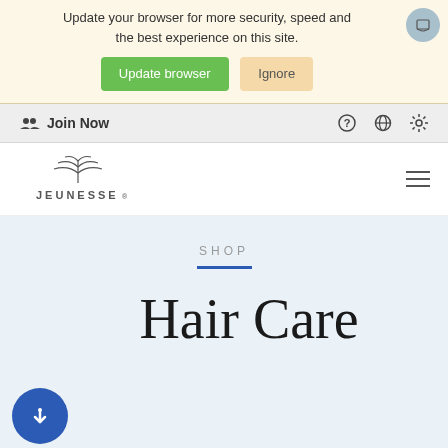Your web browser (IE 11) is out of date. Update your browser for more security, speed and the best experience on this site.
Update browser | Ignore
Join Now | ? | globe | settings
[Figure (logo): Jeunesse logo with stylized plant/fountain icon above the word JEUNESSE]
SHOP
Hair Care